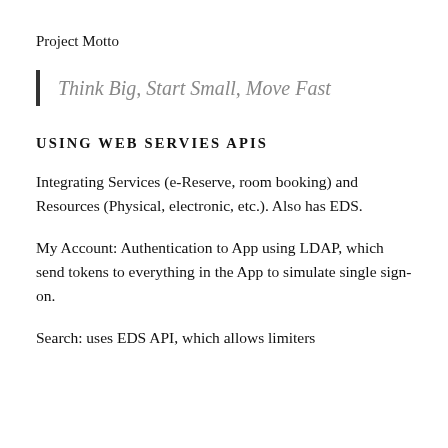Project Motto
Think Big, Start Small, Move Fast
USING WEB SERVIES APIS
Integrating Services (e-Reserve, room booking) and Resources (Physical, electronic, etc.). Also has EDS.
My Account: Authentication to App using LDAP, which send tokens to everything in the App to simulate single sign-on.
Search: uses EDS API, which allows limiters